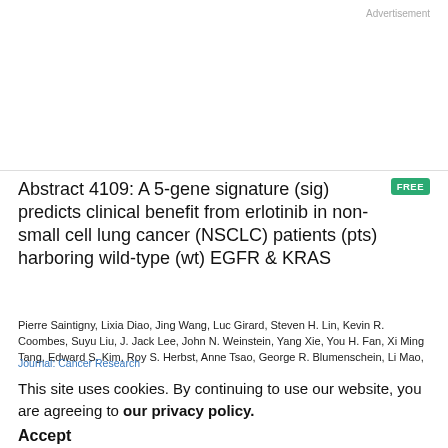Advertisement
Abstract 4109: A 5-gene signature (sig) predicts clinical benefit from erlotinib in non-small cell lung cancer (NSCLC) patients (pts) harboring wild-type (wt) EGFR & KRAS
Pierre Saintigny, Lixia Diao, Jing Wang, Luc Girard, Steven H. Lin, Kevin R. Coombes, Suyu Liu, J. Jack Lee, John N. Weinstein, Yang Xie, You H. Fan, Xi Ming Tang, Edward S. Kim, Roy S. Herbst, Anne Tsao, George R. Blumenschein, Li Mao, Scott M. Lippman, John D. Minna, Waun Ki Hong, Ignacio I. Wistuba, John V. Heymach
Journal: Cancer Research
Cancer Res (2011) 71 (8_Supplement): 4109
DOI: https://doi.org/10.1158/1538-7445.AM2011-4109
Published: 15 April 2011
This site uses cookies. By continuing to use our website, you are agreeing to our privacy policy.
Accept